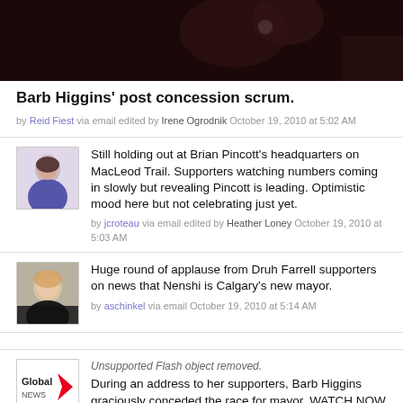[Figure (photo): Dark background close-up photo, partially cropped at top of page]
Barb Higgins' post concession scrum.
by Reid Fiest via email edited by Irene Ogrodnik October 19, 2010 at 5:02 AM
[Figure (photo): Headshot thumbnail of a woman in blue top]
Still holding out at Brian Pincott's headquarters on MacLeod Trail. Supporters watching numbers coming in slowly but revealing Pincott is leading. Optimistic mood here but not celebrating just yet.
by jcroteau via email edited by Heather Loney October 19, 2010 at 5:03 AM
[Figure (photo): Headshot thumbnail of a blonde woman]
Huge round of applause from Druh Farrell supporters on news that Nenshi is Calgary's new mayor.
by aschinkel via email October 19, 2010 at 5:14 AM
[Figure (logo): Global News logo with red chevron]
Unsupported Flash object removed.
During an address to her supporters, Barb Higgins graciously conceded the race for mayor. WATCH NOW